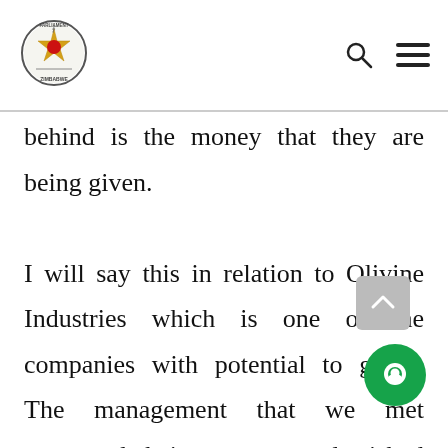Parliament of Zimbabwe logo with search and menu icons
behind is the money that they are being given. I will say this in relation to Olivine Industries which is one of the companies with potential to grow.  The management that we met expressed their concerns and wished they could increase their manpower and grow the company so as to be able to employ more people.  They even showed us the machinery that they had imported using their own funds but ha  n